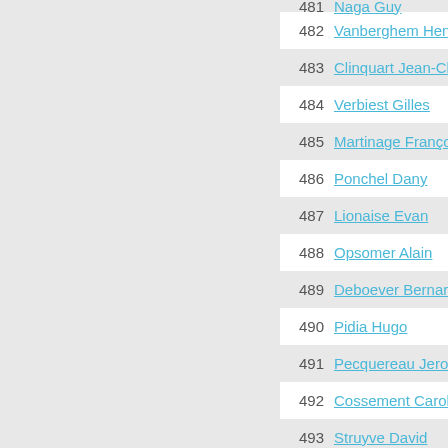| # | Name |
| --- | --- |
| 481 | Naga Guy |
| 482 | Vanberghem Henri |
| 483 | Clinquart Jean-Christoph |
| 484 | Verbiest Gilles |
| 485 | Martinage François |
| 486 | Ponchel Dany |
| 487 | Lionaise Evan |
| 488 | Opsomer Alain |
| 489 | Deboever Bernard |
| 490 | Pidia Hugo |
| 491 | Pecquereau Jerome |
| 492 | Cossement Caroline |
| 493 | Struyve David |
| 494 | Thys Johan |
| 495 | Carlier Etienne |